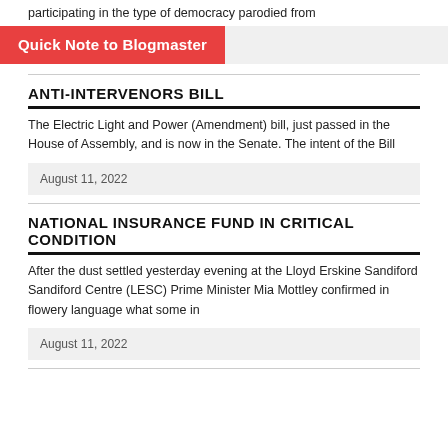participating in the type of democracy parodied from
Quick Note to Blogmaster
ANTI-INTERVENORS BILL
The Electric Light and Power (Amendment) bill, just passed in the House of Assembly, and is now in the Senate. The intent of the Bill
August 11, 2022
NATIONAL INSURANCE FUND IN CRITICAL CONDITION
After the dust settled yesterday evening at the Lloyd Erskine Sandiford Sandiford Centre (LESC) Prime Minister Mia Mottley confirmed in flowery language what some in
August 11, 2022